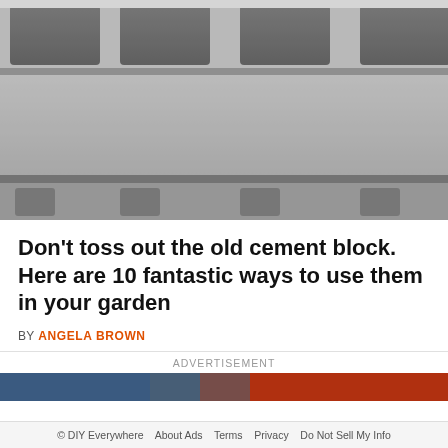[Figure (photo): Close-up photograph of stacked grey cement/cinder blocks showing their hollow rectangular openings and rough textured surface]
Don't toss out the old cement block. Here are 10 fantastic ways to use them in your garden
BY ANGELA BROWN
ADVERTISEMENT
[Figure (photo): Partial view of advertisement image strip]
© DIY Everywhere   About Ads   Terms   Privacy   Do Not Sell My Info